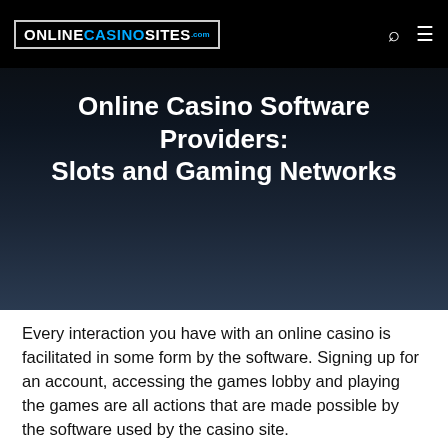ONLINECASINOSITES.com
Online Casino Software Providers: Slots and Gaming Networks
Every interaction you have with an online casino is facilitated in some form by the software. Signing up for an account, accessing the games lobby and playing the games are all actions that are made possible by the software used by the casino site.